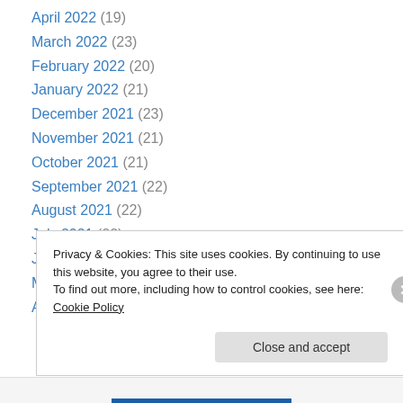April 2022 (19)
March 2022 (23)
February 2022 (20)
January 2022 (21)
December 2021 (23)
November 2021 (21)
October 2021 (21)
September 2021 (22)
August 2021 (22)
July 2021 (22)
June 2021 (22)
May 2021 (21)
April 2021 (22)
Privacy & Cookies: This site uses cookies. By continuing to use this website, you agree to their use. To find out more, including how to control cookies, see here: Cookie Policy
Close and accept